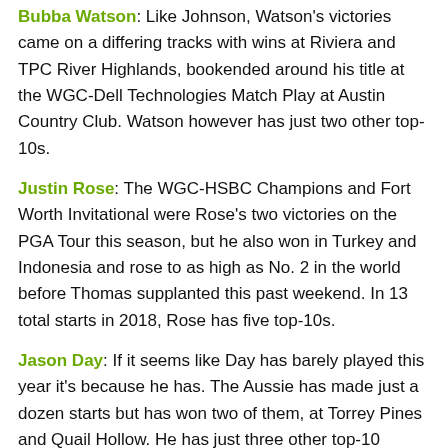Bubba Watson: Like Johnson, Watson's victories came on a differing tracks with wins at Riviera and TPC River Highlands, bookended around his title at the WGC-Dell Technologies Match Play at Austin Country Club. Watson however has just two other top-10s.
Justin Rose: The WGC-HSBC Champions and Fort Worth Invitational were Rose's two victories on the PGA Tour this season, but he also won in Turkey and Indonesia and rose to as high as No. 2 in the world before Thomas supplanted this past weekend. In 13 total starts in 2018, Rose has five top-10s.
Jason Day: If it seems like Day has barely played this year it's because he has. The Aussie has made just a dozen starts but has won two of them, at Torrey Pines and Quail Hollow. He has just three other top-10 finishes, though.
In terms of major performance, Johnson and Rose have